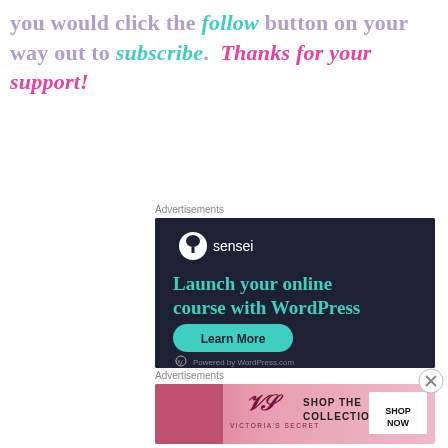you would click the follow button on your way out to subscribe.  Thanks for your support!
Advertisements
[Figure (illustration): Sensei advertisement: dark navy background with Sensei logo (tree icon in white circle), text 'Launch your online course with WordPress' in teal, a teal 'Learn More' pill button, and 'Powered by WordPress.com' footer.]
Advertisements
[Figure (illustration): Victoria's Secret advertisement: pink background with VS logo, woman with curly hair, 'SHOP THE COLLECTION' text and 'SHOP NOW' button.]